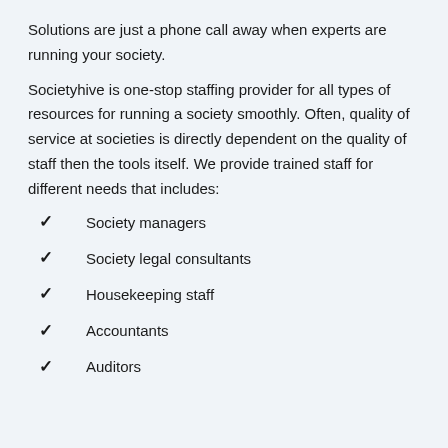Solutions are just a phone call away when experts are running your society.
Societyhive is one-stop staffing provider for all types of resources for running a society smoothly. Often, quality of service at societies is directly dependent on the quality of staff then the tools itself. We provide trained staff for different needs that includes:
Society managers
Society legal consultants
Housekeeping staff
Accountants
Auditors